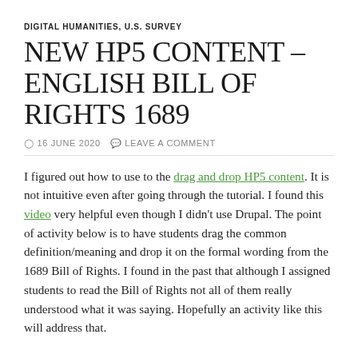DIGITAL HUMANITIES, U.S. SURVEY
NEW HP5 CONTENT – ENGLISH BILL OF RIGHTS 1689
16 JUNE 2020   LEAVE A COMMENT
I figured out how to use to the drag and drop HP5 content.  It is not intuitive even after going through the tutorial.  I found this video very helpful even though I didn't use Drupal.  The point of activity below is to have students drag the common definition/meaning and drop it on the formal wording from the 1689 Bill of Rights.  I found in the past that although I assigned students to read the Bill of Rights not all of them really understood what it was saying.  Hopefully an activity like this will address that.